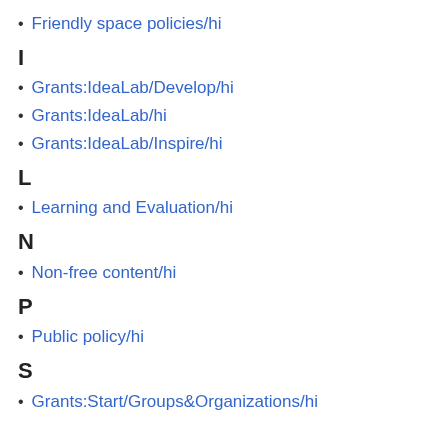Friendly space policies/hi
I
Grants:IdeaLab/Develop/hi
Grants:IdeaLab/hi
Grants:IdeaLab/Inspire/hi
L
Learning and Evaluation/hi
N
Non-free content/hi
P
Public policy/hi
S
Grants:Start/Groups&Organizations/hi